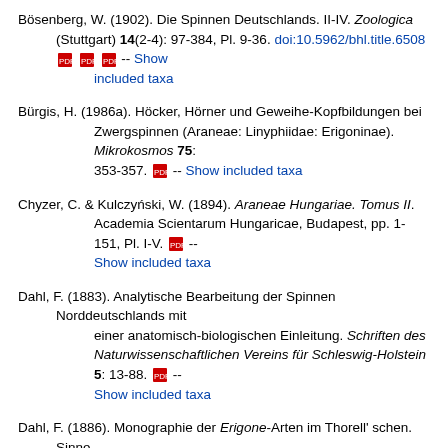Bösenberg, W. (1902). Die Spinnen Deutschlands. II-IV. Zoologica (Stuttgart) 14(2-4): 97-384, Pl. 9-36. doi:10.5962/bhl.title.6508 [PDF icons] -- Show included taxa
Bürgis, H. (1986a). Höcker, Hörner und Geweihe-Kopfbildungen bei Zwergspinnen (Araneae: Linyphiidae: Erigoninae). Mikrokosmos 75: 353-357. [PDF icon] -- Show included taxa
Chyzer, C. & Kulczyński, W. (1894). Araneae Hungariae. Tomus II. Academia Scientarum Hungaricae, Budapest, pp. 1-151, Pl. I-V. [PDF icon] -- Show included taxa
Dahl, F. (1883). Analytische Bearbeitung der Spinnen Norddeutschlands mit einer anatomisch-biologischen Einleitung. Schriften des Naturwissenschaftlichen Vereins für Schleswig-Holstein 5: 13-88. [PDF icon] -- Show included taxa
Dahl, F. (1886). Monographie der Erigone-Arten im Thorell' schen. Sinne, nebst anderen Beiträgen zur Spinnenfauna SchleswigHolsteins. Schriften des Naturwissenschaftlichen Vereins für Schleswig-Holstein 6: 65-102. [PDF icon] -- Show included taxa
Heimer, S. & Nentwig, W. (1991). Spinnen Mitteleuropas: Ein